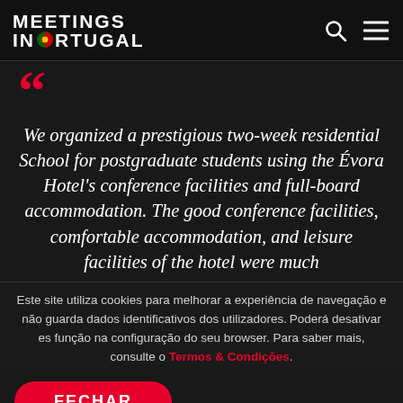[Figure (logo): Meetings in Portugal logo — white bold text on dark header, with Portuguese flag colors (red/green/yellow) on the 'O' of PORTUGAL]
We organized a prestigious two-week residential School for postgraduate students using the Évora Hotel's conference facilities and full-board accommodation. The good conference facilities, comfortable accommodation, and leisure facilities of the hotel were much
Este site utiliza cookies para melhorar a experiência de navegação e não guarda dados identificativos dos utilizadores. Poderá desativar essa função na configuração do seu browser. Para saber mais, consulte o Termos & Condições.
FECHAR